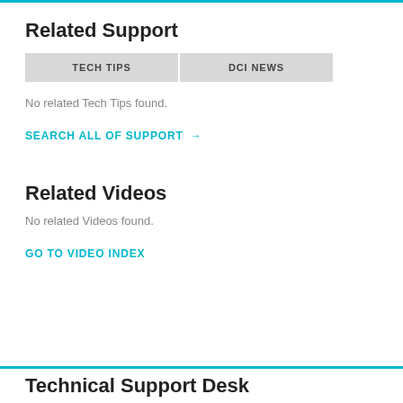Related Support
TECH TIPS | DCI NEWS
No related Tech Tips found.
SEARCH ALL OF SUPPORT →
Related Videos
No related Videos found.
GO TO VIDEO INDEX
Technical Support Desk